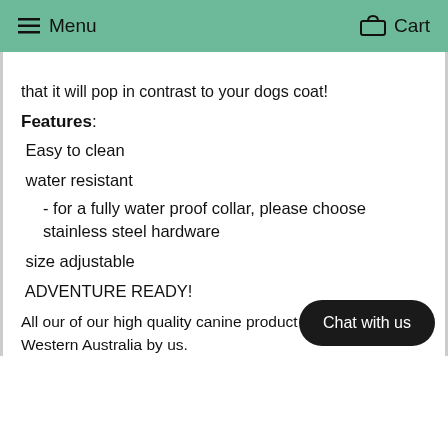Menu    Cart
that it will pop in contrast to your dogs coat!
Features:
Easy to clean
water resistant
- for a fully water proof collar, please choose stainless steel hardware
size adjustable
ADVENTURE READY!
All our of our high quality canine products are designed in Western Australia by us.